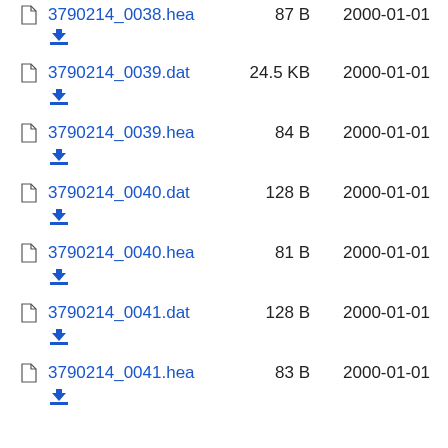3790214_0038.hea  87 B  2000-01-01
3790214_0039.dat  24.5 KB  2000-01-01
3790214_0039.hea  84 B  2000-01-01
3790214_0040.dat  128 B  2000-01-01
3790214_0040.hea  81 B  2000-01-01
3790214_0041.dat  128 B  2000-01-01
3790214_0041.hea  83 B  2000-01-01